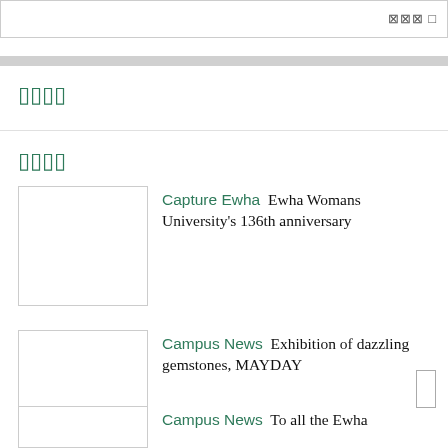⊠⊠⊠ □
▯▯▯▯
▯▯▯▯
Capture Ewha  Ewha Womans University's 136th anniversary
Campus News  Exhibition of dazzling gemstones, MAYDAY
Campus News  To all the Ewha